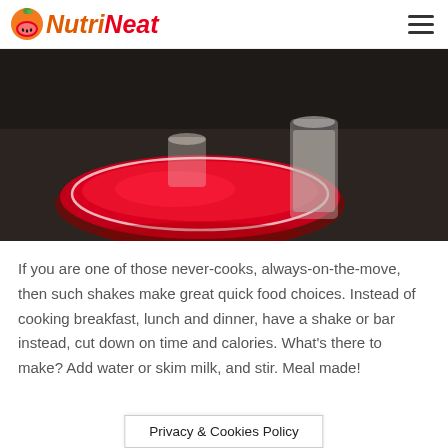NutriNeat
[Figure (photo): Overhead view of a red drink in a bowl/plate with a tall glass, on a dark surface]
If you are one of those never-cooks, always-on-the-move, then such shakes make great quick food choices. Instead of cooking breakfast, lunch and dinner, have a shake or bar instead, cut down on time and calories. What's there to make? Add water or skim milk, and stir. Meal made!
Privacy & Cookies Policy